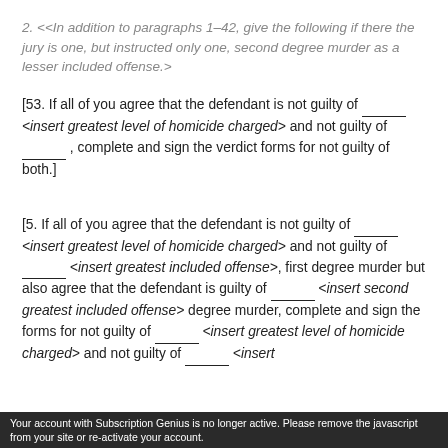2. <<In addition to paragraphs 1–42, give the following if there the jury is one, but instructed only one, second degree murder as a lesser included offense.>
[53. If all of you agree that the defendant is not guilty of ______<insert greatest level of homicide charged> and not guilty of ______ , complete and sign the verdict forms for not guilty of both.]
[5. If all of you agree that the defendant is not guilty of ______ <insert greatest level of homicide charged> and not guilty of ______ <insert greatest included offense>, first degree murder but also agree that the defendant is guilty of ______ <insert second greatest included offense> degree murder, complete and sign the forms for not guilty of ______ <insert greatest level of homicide charged> and not guilty of _______ <insert
Your account with Subscription Genius is no longer active. Please remove the javascript from your site or re-activate your account.